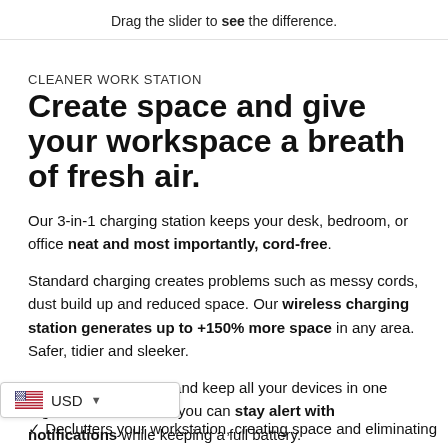Drag the slider to see the difference.
CLEANER WORK STATION
Create space and give your workspace a breath of fresh air.
Our 3-in-1 charging station keeps your desk, bedroom, or office neat and most importantly, cord-free.
Standard charging creates problems such as messy cords, dust build up and reduced space. Our wireless charging station generates up to +150% more space in any area. Safer, tidier and sleeker.
Reduce dust build up and keep all your devices in one organized location, so you can stay alert with notifications while keeping a full battery.
✓ Declutters your workstation, creating space and eliminating